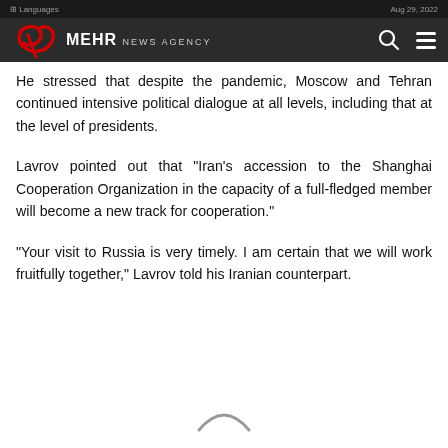MEHR NEWS AGENCY
He stressed that despite the pandemic, Moscow and Tehran continued intensive political dialogue at all levels, including that at the level of presidents.
Lavrov pointed out that "Iran's accession to the Shanghai Cooperation Organization in the capacity of a full-fledged member will become a new track for cooperation."
"Your visit to Russia is very timely. I am certain that we will work fruitfully together," Lavrov told his Iranian counterpart.